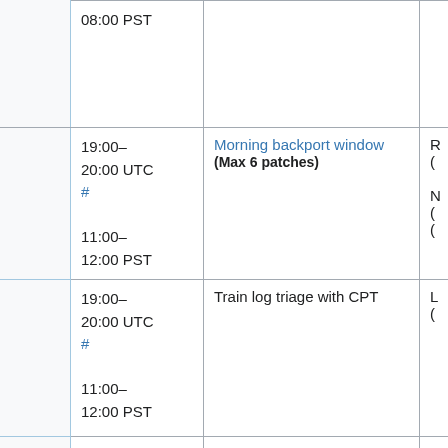|  | Time | Event | Details |
| --- | --- | --- | --- |
|  | 08:00 PST |  |  |
|  | 19:00–20:00 UTC # 11:00–12:00 PST | Morning backport window (Max 6 patches) |  |
|  | 19:00–20:00 UTC # 11:00–12:00 PST | Train log triage with CPT |  |
|  | 20:00–22:00 UTC # 12:00–14:00 PST | Mediawiki train - European+American Version (secondary timeslot) |  |